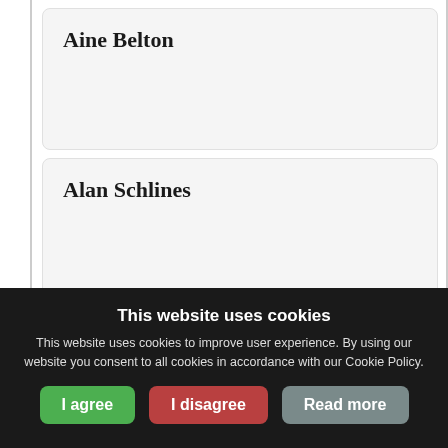Aine Belton
Alan Schlines
Alexander Lowen
Alicia Mundy
This website uses cookies
This website uses cookies to improve user experience. By using our website you consent to all cookies in accordance with our Cookie Policy.
I agree | I disagree | Read more